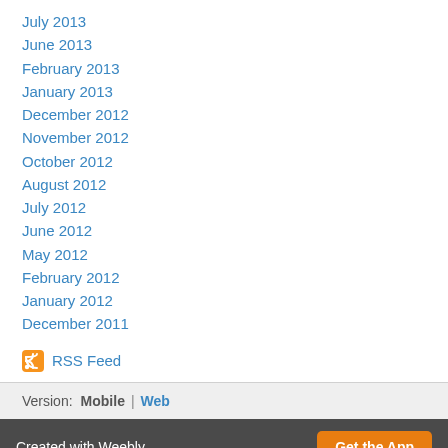July 2013
June 2013
February 2013
January 2013
December 2012
November 2012
October 2012
August 2012
July 2012
June 2012
May 2012
February 2012
January 2012
December 2011
RSS Feed
Version: Mobile | Web
Created with Weebly  Get the App